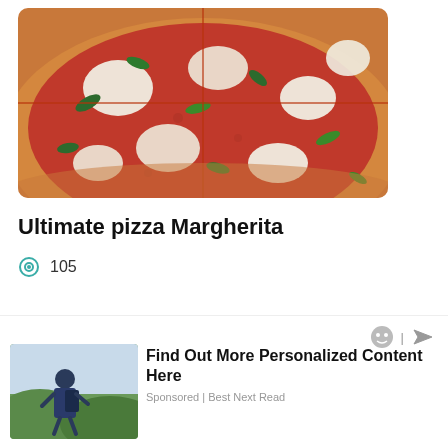[Figure (photo): Close-up photo of sliced pizza Margherita with tomato sauce, mozzarella, and fresh basil on a wooden surface]
Ultimate pizza Margherita
105
[Figure (photo): Person with backpack outdoors, used as ad image]
Find Out More Personalized Content Here
Sponsored | Best Next Read